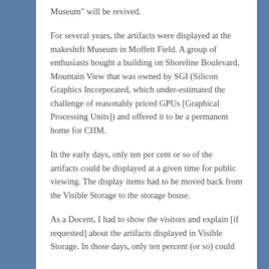Museum" will be revived.
For several years, the artifacts were displayed at the makeshift Museum in Moffett Field. A group of enthusiasts bought a building on Shoreline Boulevard, Mountain View that was owned by SGI (Silicon Graphics Incorporated, which under-estimated the challenge of reasonably priced GPUs [Graphical Processing Units]) and offered it to be a permanent home for CHM.
In the early days, only ten per cent or so of the artifacts could be displayed at a given time for public viewing. The display items had to be moved back from the Visible Storage to the storage house.
As a Docent, I had to show the visitors and explain [if requested] about the artifacts displayed in Visible Storage. In those days, only ten percent (or so) could